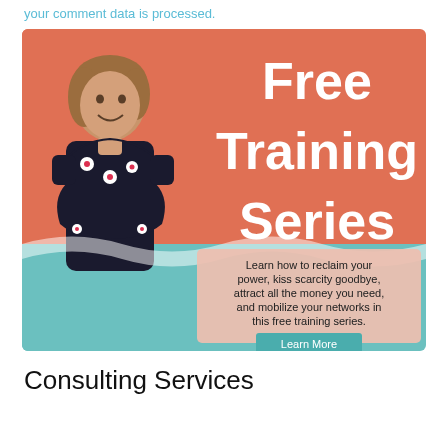your comment data is processed.
[Figure (illustration): Promotional banner with coral/teal background showing a smiling woman with crossed arms wearing a floral dress, with text 'Free Training Series' and a description box with a 'Learn More' button.]
Consulting Services